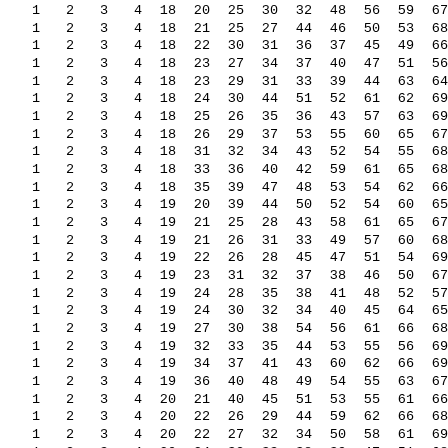| 1 | 2 | 3 | 4 | 18 | 20 | 25 | 30 | 32 | 48 | 56 | 59 | 67 |
| 1 | 2 | 3 | 4 | 18 | 21 | 25 | 27 | 44 | 46 | 50 | 53 | 68 |
| 1 | 2 | 3 | 4 | 18 | 22 | 30 | 31 | 36 | 37 | 45 | 49 | 66 |
| 1 | 2 | 3 | 4 | 18 | 23 | 27 | 34 | 37 | 40 | 47 | 51 | 56 |
| 1 | 2 | 3 | 4 | 18 | 23 | 29 | 31 | 33 | 39 | 44 | 63 | 64 |
| 1 | 2 | 3 | 4 | 18 | 24 | 30 | 44 | 51 | 52 | 61 | 62 | 69 |
| 1 | 2 | 3 | 4 | 18 | 25 | 26 | 35 | 36 | 43 | 57 | 63 | 69 |
| 1 | 2 | 3 | 4 | 18 | 26 | 29 | 37 | 53 | 55 | 60 | 65 | 67 |
| 1 | 2 | 3 | 4 | 18 | 31 | 32 | 34 | 43 | 52 | 54 | 55 | 68 |
| 1 | 2 | 3 | 4 | 18 | 33 | 36 | 40 | 42 | 59 | 61 | 65 | 68 |
| 1 | 2 | 3 | 4 | 18 | 35 | 39 | 47 | 48 | 53 | 54 | 62 | 66 |
| 1 | 2 | 3 | 4 | 19 | 20 | 39 | 44 | 50 | 52 | 54 | 60 | 65 |
| 1 | 2 | 3 | 4 | 19 | 21 | 25 | 28 | 43 | 58 | 61 | 65 | 67 |
| 1 | 2 | 3 | 4 | 19 | 21 | 26 | 31 | 33 | 49 | 57 | 60 | 68 |
| 1 | 2 | 3 | 4 | 19 | 22 | 26 | 28 | 45 | 47 | 51 | 54 | 69 |
| 1 | 2 | 3 | 4 | 19 | 23 | 31 | 32 | 37 | 38 | 46 | 50 | 67 |
| 1 | 2 | 3 | 4 | 19 | 24 | 28 | 35 | 38 | 41 | 48 | 52 | 57 |
| 1 | 2 | 3 | 4 | 19 | 24 | 30 | 32 | 34 | 40 | 45 | 64 | 65 |
| 1 | 2 | 3 | 4 | 19 | 27 | 30 | 38 | 54 | 56 | 61 | 66 | 68 |
| 1 | 2 | 3 | 4 | 19 | 32 | 33 | 35 | 44 | 53 | 55 | 56 | 69 |
| 1 | 2 | 3 | 4 | 19 | 34 | 37 | 41 | 43 | 60 | 62 | 66 | 69 |
| 1 | 2 | 3 | 4 | 19 | 36 | 40 | 48 | 49 | 54 | 55 | 63 | 67 |
| 1 | 2 | 3 | 4 | 20 | 21 | 40 | 45 | 51 | 53 | 55 | 61 | 66 |
| 1 | 2 | 3 | 4 | 20 | 22 | 26 | 29 | 44 | 59 | 62 | 66 | 68 |
| 1 | 2 | 3 | 4 | 20 | 22 | 27 | 32 | 34 | 50 | 58 | 61 | 69 |
| 1 | 2 | 3 | 4 | 20 | 24 | 32 | 33 | 38 | 39 | 47 | 51 | 68 |
| 1 | 2 | 3 | 4 | 20 | 25 | 29 | 36 | 39 | 42 | 49 | 53 | 58 |
| 1 | 2 | 3 | 4 | 20 | 25 | 31 | 33 | 35 | 41 | 46 | 65 | 66 |
| 1 | 2 | 3 | 4 | 20 | 28 | 31 | 39 | 55 | 57 | 62 | 67 | 69 |
| 1 | 2 | 3 | 4 | 20 | 27 | 41 | 49 | 50 | 55 | 56 | 64 | 68 |